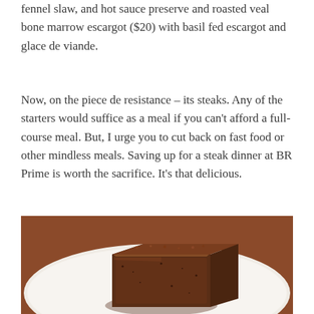fennel slaw, and hot sauce preserve and roasted veal bone marrow escargot ($20) with basil fed escargot and glace de viande.
Now, on the piece de resistance – its steaks. Any of the starters would suffice as a meal if you can't afford a full-course meal. But, I urge you to cut back on fast food or other mindless meals. Saving up for a steak dinner at BR Prime is worth the sacrifice. It's that delicious.
[Figure (photo): A close-up photo of a thick, seasoned steak piece on a white plate with a warm brown wooden background visible.]